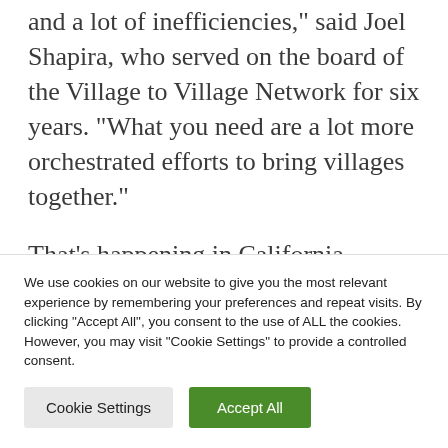and a lot of inefficiencies," said Joel Shapira, who served on the board of the Village to Village Network for six years. "What you need are a lot more orchestrated efforts to bring villages together."
That's happening in California, where a coalition of villages is working in sync to expand its impact and seek state funding. Recently, Village Movement California,
We use cookies on our website to give you the most relevant experience by remembering your preferences and repeat visits. By clicking "Accept All", you consent to the use of ALL the cookies. However, you may visit "Cookie Settings" to provide a controlled consent.